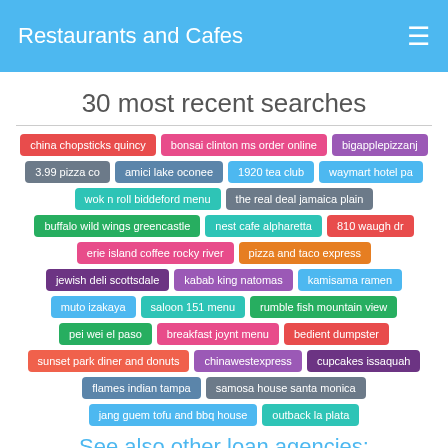Restaurants and Cafes
30 most recent searches
china chopsticks quincy
bonsai clinton ms order online
bigapplepizzanj
3.99 pizza co
amici lake oconee
1920 tea club
waymart hotel pa
wok n roll biddeford menu
the real deal jamaica plain
buffalo wild wings greencastle
nest cafe alpharetta
810 waugh dr
erie island coffee rocky river
pizza and taco express
jewish deli scottsdale
kabab king natomas
kamisama ramen
muto izakaya
saloon 151 menu
rumble fish mountain view
pei wei el paso
breakfast joynt menu
bedient dumpster
sunset park diner and donuts
chinawestexpress
cupcakes issaquah
flames indian tampa
samosa house santa monica
jang guem tofu and bbq house
outback la plata
See also other loan agencies:
HO Hop Tung Inc